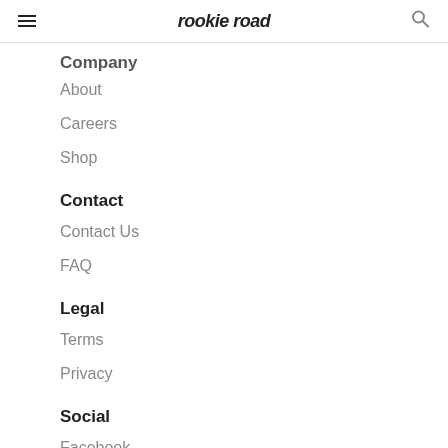rookie road
Company
About
Careers
Shop
Contact
Contact Us
FAQ
Legal
Terms
Privacy
Social
Facebook
Instagram